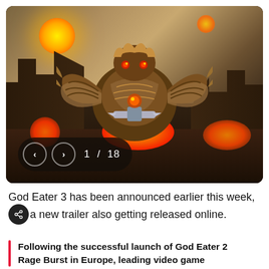[Figure (screenshot): Video game screenshot of God Eater 3 showing a large monster creature in a destroyed cityscape with fire and a glowing orb in the sky. Navigation controls showing '1 / 18' are overlaid at the bottom left.]
God Eater 3 has been announced earlier this week, a new trailer also getting released online.
Following the successful launch of God Eater 2 Rage Burst in Europe, leading video game